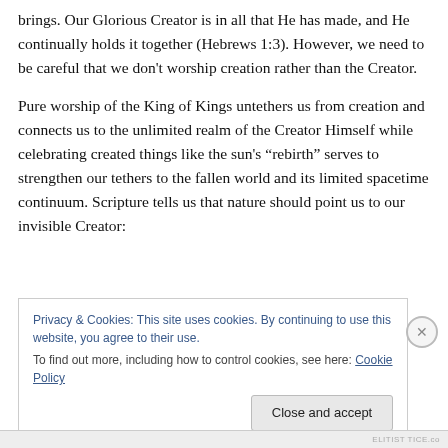brings. Our Glorious Creator is in all that He has made, and He continually holds it together (Hebrews 1:3). However, we need to be careful that we don't worship creation rather than the Creator.
Pure worship of the King of Kings untethers us from creation and connects us to the unlimited realm of the Creator Himself while celebrating created things like the sun's “rebirth” serves to strengthen our tethers to the fallen world and its limited spacetime continuum. Scripture tells us that nature should point us to our invisible Creator:
Privacy & Cookies: This site uses cookies. By continuing to use this website, you agree to their use.
To find out more, including how to control cookies, see here: Cookie Policy